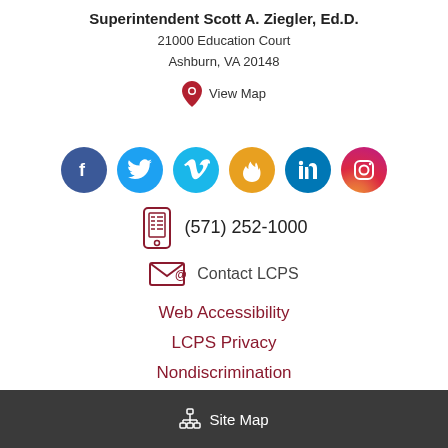Superintendent Scott A. Ziegler, Ed.D.
21000 Education Court
Ashburn, VA 20148
View Map
[Figure (infographic): Social media icons row: Facebook, Twitter, Vimeo, Firefly(?), LinkedIn, Instagram]
(571) 252-1000
Contact LCPS
Web Accessibility
LCPS Privacy
Nondiscrimination
Site Map